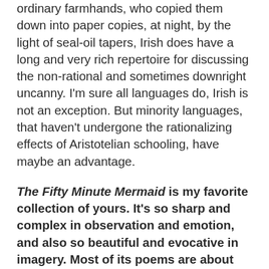ordinary farmhands, who copied them down into paper copies, at night, by the light of seal-oil tapers, Irish does have a long and very rich repertoire for discussing the non-rational and sometimes downright uncanny. I'm sure all languages do, Irish is not an exception. But minority languages, that haven't undergone the rationalizing effects of Aristotelian schooling, have maybe an advantage.
The Fifty Minute Mermaid is my favorite collection of yours. It's so sharp and complex in observation and emotion, and also so beautiful and evocative in imagery. Most of its poems are about mermaids and merfolk, and many of them are humorous, but there's also an underlying sense of trauma throughout the collection. Of the merfolk suffering and surviving, and even inflicting, various forms of trauma. The title of